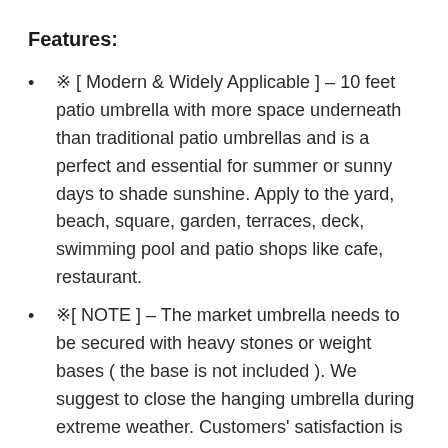Features:
※ [ Modern & Widely Applicable ] – 10 feet patio umbrella with more space underneath than traditional patio umbrellas and is a perfect and essential for summer or sunny days to shade sunshine. Apply to the yard, beach, square, garden, terraces, deck, swimming pool and patio shops like cafe, restaurant.
※[ NOTE ] – The market umbrella needs to be secured with heavy stones or weight bases ( the base is not included ). We suggest to close the hanging umbrella during extreme weather. Customers' satisfaction is our